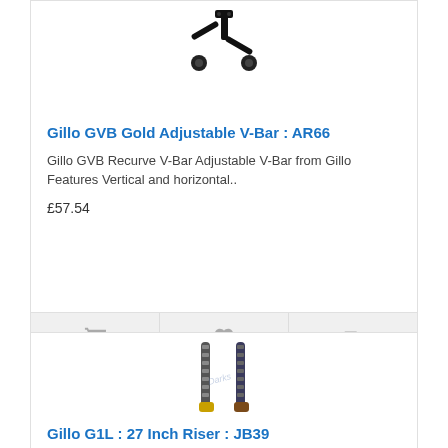[Figure (photo): Gillo GVB Gold Adjustable V-Bar product photo on white background]
Gillo GVB Gold Adjustable V-Bar : AR66
Gillo GVB Recurve V-Bar Adjustable V-Bar from Gillo Features Vertical and horizontal..
£57.54
[Figure (photo): Gillo G1L 27 Inch Riser product photo showing two riser limbs on white background]
Gillo G1L : 27 Inch Riser : JB39
Gillo G1L 27" Recurve / Barebow Riser The Gillo G1L recurve